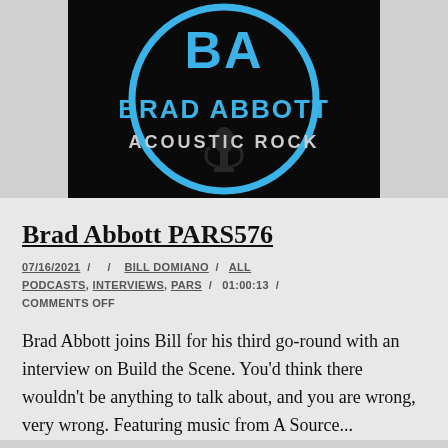[Figure (logo): Brad Abbott Acoustic Rock logo: black circular background with blue circle outline, blue 'BA' letters and 'BRAD ABBOTT' in blue, 'ACOUSTIC ROCK' in white, microphone watermark]
Brad Abbott PARS576
07/16/2021 / / BILL DOMIANO / ALL PODCASTS, INTERVIEWS, PARS / 01:00:13 / COMMENTS OFF
Brad Abbott joins Bill for his third go-round with an interview on Build the Scene. You'd think there wouldn't be anything to talk about, and you are wrong, very wrong. Featuring music from A Source...